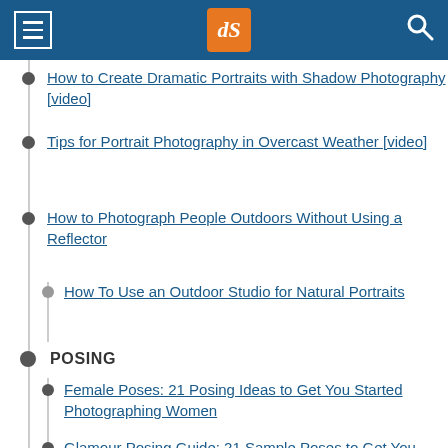dPS navigation header
How to Create Dramatic Portraits with Shadow Photography [video]
Tips for Portrait Photography in Overcast Weather [video]
How to Photograph People Outdoors Without Using a Reflector
How To Use an Outdoor Studio for Natural Portraits
POSING
Female Poses: 21 Posing Ideas to Get You Started Photographing Women
Glamour Posing Guide: 21 Sample Poses to Get You Started